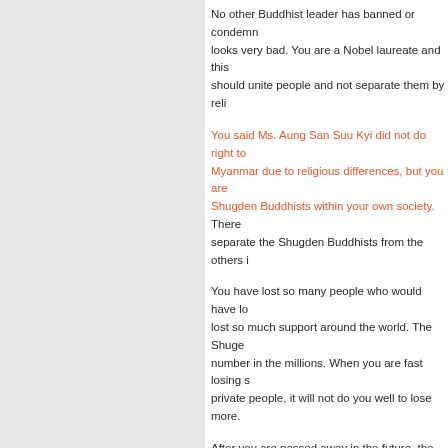No other Buddhist leader has banned or condemn... looks very bad. You are a Nobel laureate and this... should unite people and not separate them by reli...
You said Ms. Aung San Suu Kyi did not do right to... Myanmar due to religious differences, but you are... Shugden Buddhists within your own society. There... separate the Shugden Buddhists from the others i...
You have lost so many people who would have lo... lost so much support around the world. The Shuge... number in the millions. When you are fast losing s... private people, it will not do you well to lose more.
After you are passed away in the future, the rift yo... Shugden and non-Dorje Shugden people will rema... your legacy. Disharmony. You will be remembered... disharmony creator.
Dorje Shugden will spread and further grow, but yo... human. No one wishes you bad and in fact we hop... life, but we have lost so much hope and have so m... the hundreds of Dorje Shugden lamas, tulkus and... are hundreds of Dorje Shugden monasteries in Tib... Shugden. You have made a mistake. These hundr...